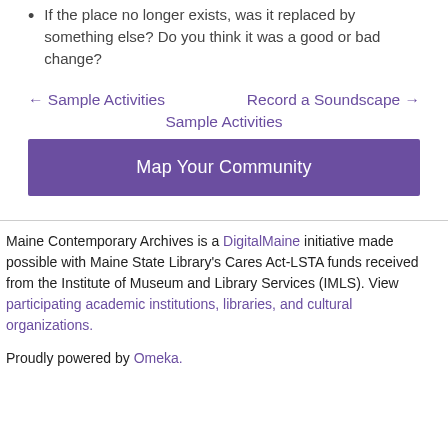If the place no longer exists, was it replaced by something else? Do you think it was a good or bad change?
← Sample Activities    Record a Soundscape →
Sample Activities
Map Your Community
Maine Contemporary Archives is a DigitalMaine initiative made possible with Maine State Library's Cares Act-LSTA funds received from the Institute of Museum and Library Services (IMLS). View participating academic institutions, libraries, and cultural organizations.
Proudly powered by Omeka.